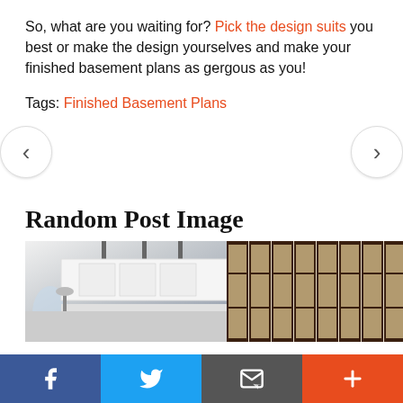So, what are you waiting for? Pick the design suits you best or make the design yourselves and make your finished basement plans as gergous as you!
Tags: Finished Basement Plans
[Figure (other): Left and right navigation arrow buttons]
Random Post Image
[Figure (photo): Two thumbnail images side by side: left shows a kitchen interior with pendant lights, right shows a decorative room divider/screen]
[Figure (other): Social share bar with Facebook, Twitter, Email, and More buttons]